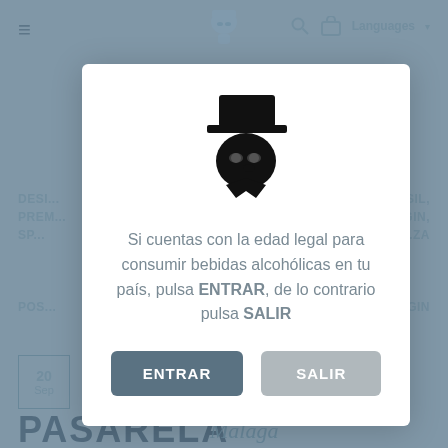[Figure (screenshot): Website background showing navigation bar with hamburger menu, logo, search and cart icons, Languages option, and partial page content with PASARELA MALAGA text at bottom. Overlay dimmed with blue-gray tint.]
[Figure (logo): Silhouette of a person with top hat and glasses (monocle), in black, representing the brand logo inside the modal dialog.]
Si cuentas con la edad legal para consumir bebidas alcohólicas en tu país, pulsa ENTRAR, de lo contrario pulsa SALIR